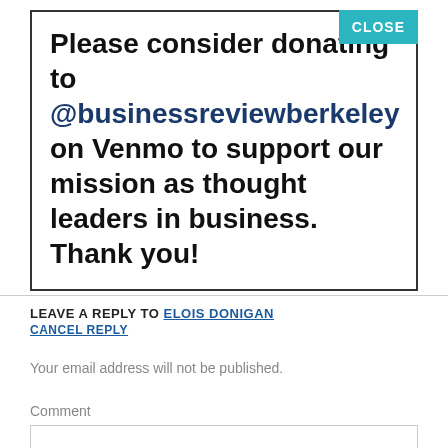Please consider donating to @businessreviewberkeley on Venmo to support our mission as thought leaders in business. Thank you!
CLOSE
LEAVE A REPLY TO ELOIS DONIGAN
CANCEL REPLY
Your email address will not be published.
Comment